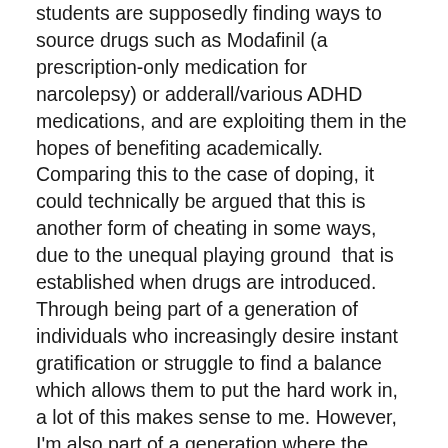students are supposedly finding ways to source drugs such as Modafinil (a prescription-only medication for narcolepsy) or adderall/various ADHD medications, and are exploiting them in the hopes of benefiting academically. Comparing this to the case of doping, it could technically be argued that this is another form of cheating in some ways, due to the unequal playing ground that is established when drugs are introduced. Through being part of a generation of individuals who increasingly desire instant gratification or struggle to find a balance which allows them to put the hard work in, a lot of this makes sense to me. However, I'm also part of a generation where the inspiration and motivation is low. Our university fees are sky rocketing, our job opportunities are depressing and restrictive, whilst the expectations stay high. This could partially help in explaining why students are reaching for chemical alternatives for concentration but it doesn't reveal the entire picture. Trends for drugs move with the times, and perhaps this generations' trend is for mind-focusing substances, allowing the next generation to...